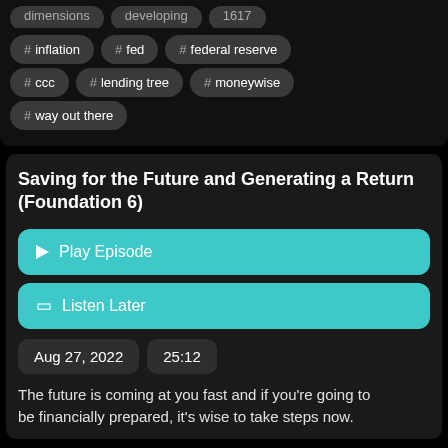# inflation
# fed
# federal reserve
# ccc
# lending tree
# moneywise
# way out there
Saving for the Future and Generating a Return (Foundation 6)
Play Episode
Listen Later
Aug 27, 2022
25:12
The future is coming at you fast and if you're going to be financially prepared, it's wise to take steps now.